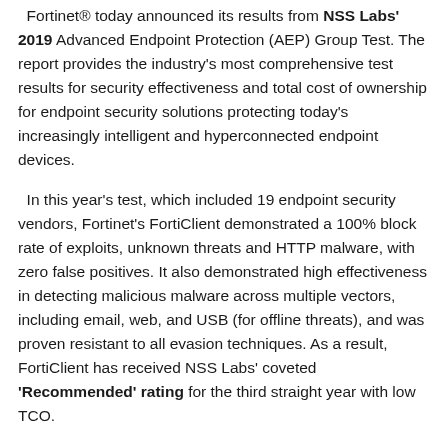Fortinet® today announced its results from NSS Labs' 2019 Advanced Endpoint Protection (AEP) Group Test. The report provides the industry's most comprehensive test results for security effectiveness and total cost of ownership for endpoint security solutions protecting today's increasingly intelligent and hyperconnected endpoint devices.
In this year's test, which included 19 endpoint security vendors, Fortinet's FortiClient demonstrated a 100% block rate of exploits, unknown threats and HTTP malware, with zero false positives. It also demonstrated high effectiveness in detecting malicious malware across multiple vectors, including email, web, and USB (for offline threats), and was proven resistant to all evasion techniques. As a result, FortiClient has received NSS Labs' coveted 'Recommended' rating for the third straight year with low TCO.
As a robust advanced endpoint protection solution, FortiClient